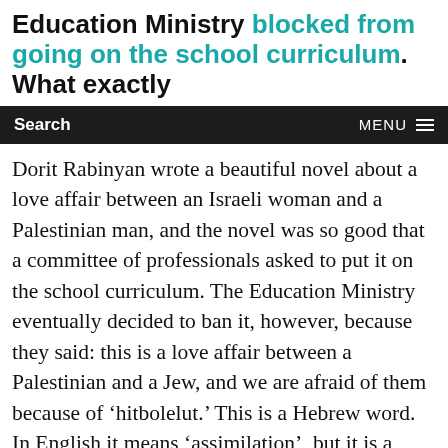Education Ministry blocked from going on the school curriculum. What exactly
Search   MENU
Dorit Rabinyan wrote a beautiful novel about a love affair between an Israeli woman and a Palestinian man, and the novel was so good that a committee of professionals asked to put it on the school curriculum. The Education Ministry eventually decided to ban it, however, because they said: this is a love affair between a Palestinian and a Jew, and we are afraid of them because of ‘hitbolelut.’ This is a Hebrew word. In English it means ‘assimilation’, but it is a specific word that we use in Hebrew, which we only use about the assimilation of Jews with other nations. It means that you’re afraid of Jews marrying non-Jews and that then the Jewish religion or culture would be destroyed, because it would be mixed with other cultures. They argued